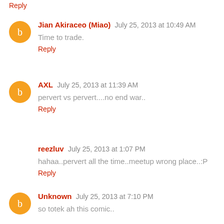Reply
Jian Akiraceo (Miao)  July 25, 2013 at 10:49 AM
Time to trade.
Reply
AXL  July 25, 2013 at 11:39 AM
pervert vs pervert....no end war..
Reply
reezluv  July 25, 2013 at 1:07 PM
hahaa..pervert all the time..meetup wrong place..:P
Reply
Unknown  July 25, 2013 at 7:10 PM
so totek ah this comic..